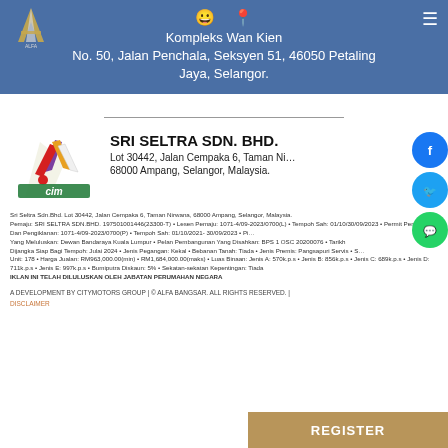Kompleks Wan Kien
No. 50, Jalan Penchala, Seksyen 51, 46050 Petaling Jaya, Selangor.
[Figure (logo): Alfa Bangsar logo - letter A with gold/silver styling]
[Figure (logo): CITYMOTORS / CIM developer logo with coloured flags/checkered design]
SRI SELTRA SDN. BHD.
Lot 30442, Jalan Cempaka 6, Taman Nirwana, 68000 Ampang, Selangor, Malaysia.
Sri Seltra Sdn.Bhd. Lot 30442, Jalan Cempaka 6, Taman Nirwana, 68000 Ampang, Selangor, Malaysia. Pemaju: SRI SELTRA SDN.BHD. 197501001446(23300-T) • Lesen Pemaju: 1071-4/09-2023/0700(L) • Tempoh Sah: 01/10/2021- 30/09/2023 • Permit Penjualan Dan Pengiklanan: 1071-4/09-2023/0700(P) • Tempoh Sah: 01/10/2021-30/09/2023 • Pihak Yang Meluluskan: Dewan Bandaraya Kuala Lumpur • Pelan Pembangunan Yang Disahkan: BPS 1 OSC 20200076 • Tarikh Dijangka Siap Bagi Tempoh: Julai 2024 • Jenis Pegangan: Kekal • Bebanan Tanah: Tiada • Jenis Premis: Pangsapuri Servis • Jumlah Unit: 178 • Harga Jualan: RM963,000.00(min) • RM1,684,000.00(maks) • Luas Binaan: Jenis A: 570k.p.s • Jenis B: 856k.p.s • Jenis C: 689k.p.s • Jenis D: 711k.p.s • Jenis E: 997k.p.s • Bumiputra Diskaun: 5% • Sekatan-sekatan Kepentingan: Tiada
IKLAN INI TELAH DILULUSKAN OLEH JABATAN PERUMAHAN NEGARA
A DEVELOPMENT BY CITYMOTORS GROUP | © ALFA BANGSAR. ALL RIGHTS RESERVED. |
DISCLAIMER